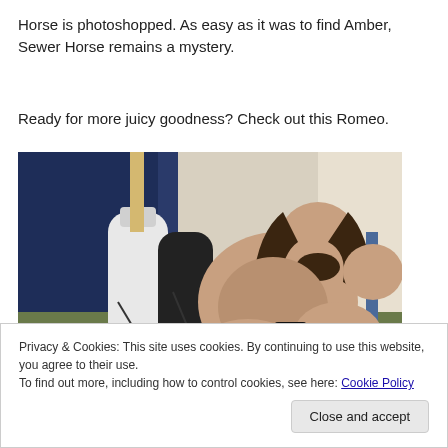Horse is photoshopped. As easy as it was to find Amber, Sewer Horse remains a mystery.
Ready for more juicy goodness? Check out this Romeo.
[Figure (photo): A heavyset man with long dark hair and beard, shirtless, reclining on a bed with video game guitars and gaming equipment in a blue-draped room.]
Privacy & Cookies: This site uses cookies. By continuing to use this website, you agree to their use.
To find out more, including how to control cookies, see here: Cookie Policy

Close and accept